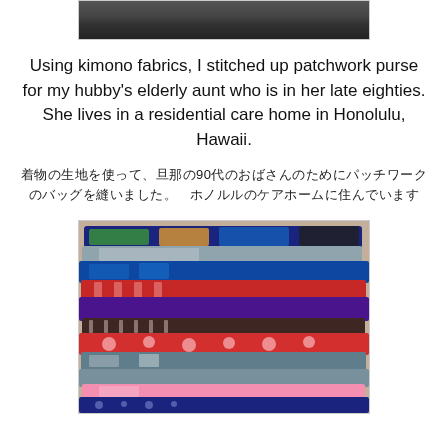[Figure (photo): Top portion of a person wearing dark pants, cropped image showing lower body]
Using kimono fabrics, I stitched up patchwork purse for my hubby's elderly aunt who is in her late eighties. She lives in a residential care home in Honolulu, Hawaii.
着物の生地を使って、旦那の90代のおばさんのためにパッチワークのバッグを縫いました。　ホノルルのケアホームに住んでいます
[Figure (photo): Stack of folded colorful kimono fabrics in various patterns including floral, geometric, and traditional Japanese designs in colors including navy, red, purple, green, gold, grey, and pink]